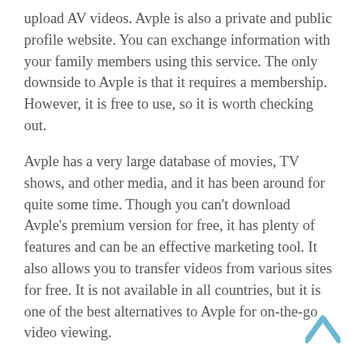upload AV videos. Avple is also a private and public profile website. You can exchange information with your family members using this service. The only downside to Avple is that it requires a membership. However, it is free to use, so it is worth checking out.
Avple has a very large database of movies, TV shows, and other media, and it has been around for quite some time. Though you can't download Avple's premium version for free, it has plenty of features and can be an effective marketing tool. It also allows you to transfer videos from various sites for free. It is not available in all countries, but it is one of the best alternatives to Avple for on-the-go video viewing.
Avple is also free, which makes it a great alternative for those who don't want to pay for a